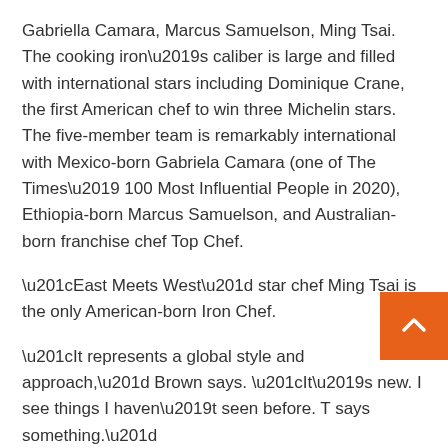Gabriella Camara, Marcus Samuelson, Ming Tsai. The cooking iron's caliber is large and filled with international stars including Dominique Crane, the first American chef to win three Michelin stars. The five-member team is remarkably international with Mexico-born Gabriela Camara (one of The Times' 100 Most Influential People in 2020), Ethiopia-born Marcus Samuelson, and Australian-born franchise chef Top Chef.
“East Meets West” star chef Ming Tsai is the only American-born Iron Chef.
“It represents a global style and approach,” Brown says. “It’s new. I see things I haven’t seen before. T says something.”
Iron Chefs are chosen to battle seasoned chefs in